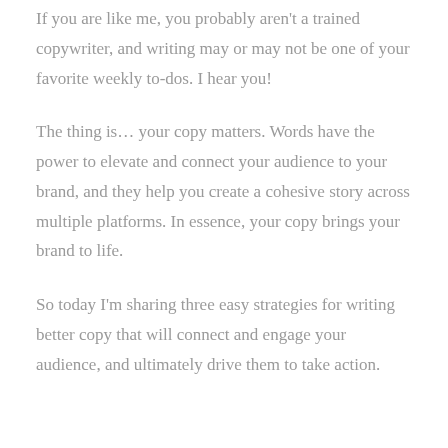If you are like me, you probably aren't a trained copywriter, and writing may or may not be one of your favorite weekly to-dos. I hear you!
The thing is… your copy matters. Words have the power to elevate and connect your audience to your brand, and they help you create a cohesive story across multiple platforms. In essence, your copy brings your brand to life.
So today I'm sharing three easy strategies for writing better copy that will connect and engage your audience, and ultimately drive them to take action.